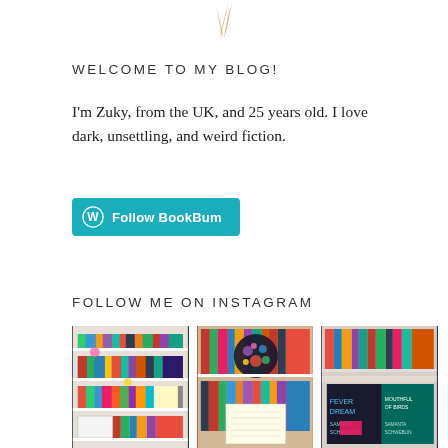[Figure (illustration): Partial decorative feather or quill illustration at top center of page]
WELCOME TO MY BLOG!
I'm Zuky, from the UK, and 25 years old. I love dark, unsettling, and weird fiction.
[Figure (other): WordPress Follow BookBum button in teal/cyan color with WordPress logo icon]
FOLLOW ME ON INSTAGRAM
[Figure (photo): Three Instagram photos showing bookshelves with colorful books, crystals, and book covers including Fever Dream by Samanta Schweblin]